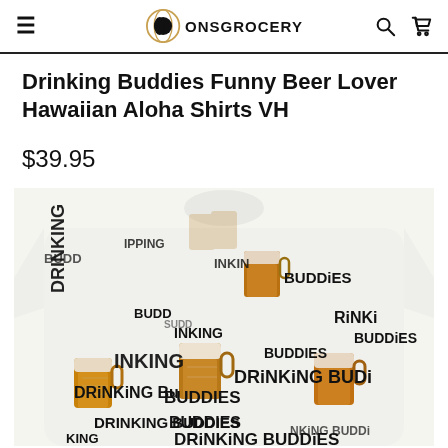ONSGROCERY
Drinking Buddies Funny Beer Lover Hawaiian Aloha Shirts VH
$39.95
[Figure (photo): Hawaiian Aloha shirt with 'Drinking Buddies' text pattern and beer mug illustrations on white background]